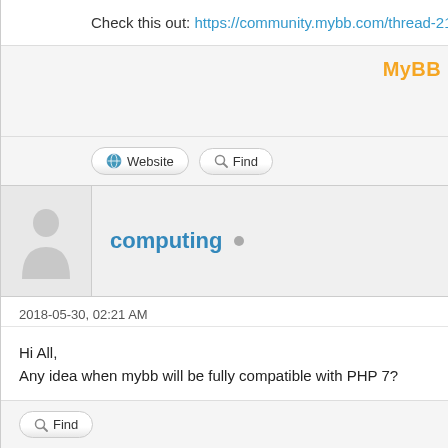Check this out: https://community.mybb.com/thread-214721...p
MyBB
Website   Find
[Figure (illustration): Default grey silhouette avatar placeholder image]
computing (online indicator dot)
2018-05-30, 02:21 AM
Hi All,
Any idea when mybb will be fully compatible with PHP 7?

Thanks
Find